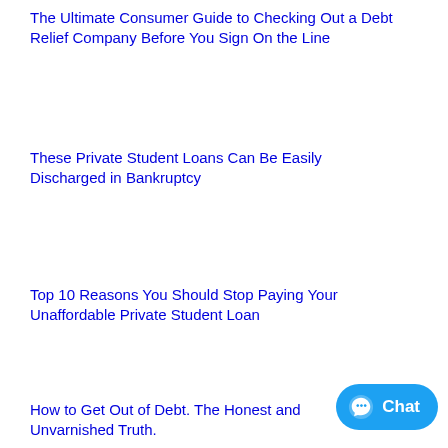The Ultimate Consumer Guide to Checking Out a Debt Relief Company Before You Sign On the Line
These Private Student Loans Can Be Easily Discharged in Bankruptcy
Top 10 Reasons You Should Stop Paying Your Unaffordable Private Student Loan
How to Get Out of Debt. The Honest and Unvarnished Truth.